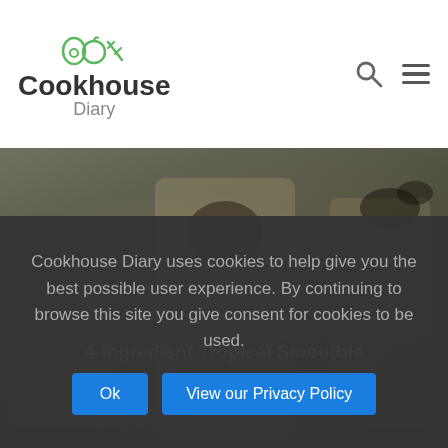Cookhouse Diary
[Figure (photo): Blurred background photo of tropical smoothie drinks in glasses, dark moody tones with a text overlay reading '4-Ingredient Tropical Smoothie']
4-Ingredient Tropical Smoothie
Cookhouse Diary uses cookies to help give you the best possible user experience. By continuing to browse this site you give consent for cookies to be used.